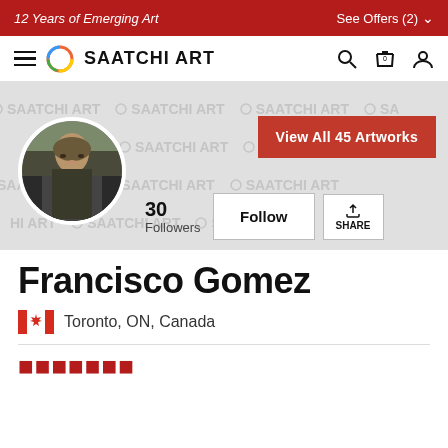12 Years of Emerging Art
See Offers (2)
[Figure (logo): Saatchi Art logo with circular rainbow icon and bold text SAATCHI ART]
[Figure (photo): Artist profile photo of Francisco Gomez, circular cropped portrait of a man in a dark jacket outdoors, overlaid on a watermarked Saatchi Art banner background]
View All 45 Artworks
30 Followers
Follow
SHARE
Francisco Gomez
Toronto, ON, Canada